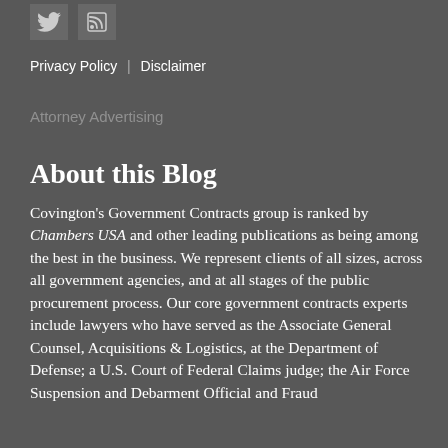[Figure (logo): Twitter bird icon and RSS feed icon in gray boxes]
Privacy Policy | Disclaimer
Attorney Advertising
About this Blog
Covington's Government Contracts group is ranked by Chambers USA and other leading publications as being among the best in the business. We represent clients of all sizes, across all government agencies, and at all stages of the public procurement process. Our core government contracts experts include lawyers who have served as the Associate General Counsel, Acquisitions & Logistics, at the Department of Defense; a U.S. Court of Federal Claims judge; the Air Force Suspension and Debarment Official and Fraud